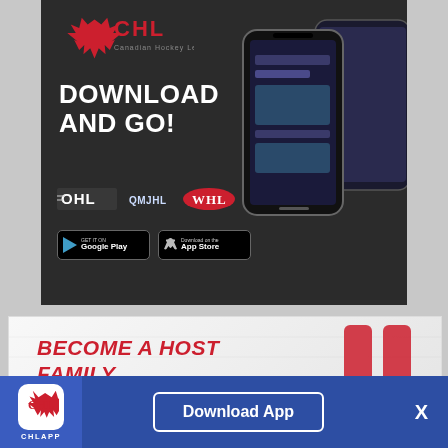[Figure (infographic): CHL app advertisement with dark background. Shows CHL logo (Canadian Hockey League maple leaf logo), large bold text 'DOWNLOAD AND GO!', OHL, QMJHL, WHL league logos, Google Play and App Store download buttons, and a phone mockup displaying the CHL app.]
[Figure (infographic): Horizontal banner ad with white/grey textured background, bold red text 'BECOME A HOST FAMILY' on left, and two red vertical stripes on right side.]
[Figure (infographic): Bottom sticky app download bar. Blue background with CHL app icon and 'CHLAPP' label on left, 'Download App' button in center, and 'X' close button on right.]